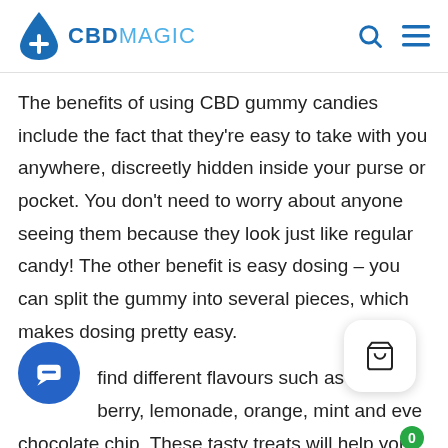[Figure (logo): CBD Magic logo with blue water drop icon containing white plus sign, followed by text CBD MAGIC in blue]
The benefits of using CBD gummy candies include the fact that they're easy to take with you anywhere, discreetly hidden inside your purse or pocket. You don't need to worry about anyone seeing them because they look just like regular candy! The other benefit is easy dosing – you can split the gummy into several pieces, which makes dosing pretty easy.
find different flavours such as berry, lemonade, orange, mint and eve chocolate chip. These tasty treats will help you